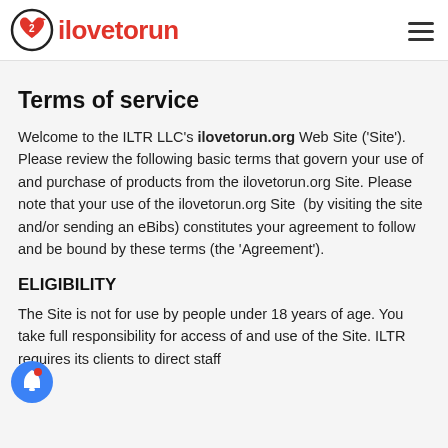ilovetorun
Terms of service
Welcome to the ILTR LLC's ilovetorun.org Web Site ('Site'). Please review the following basic terms that govern your use of and purchase of products from the ilovetorun.org Site. Please note that your use of the ilovetorun.org Site (by visiting the site and/or sending an eBibs) constitutes your agreement to follow and be bound by these terms (the 'Agreement').
ELIGIBILITY
The Site is not for use by people under 18 years of age. You take full responsibility for access of and use of the Site. ILTR requires its clients to direct staff...